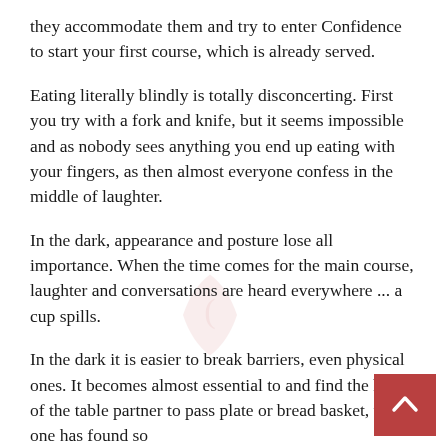they accommodate them and try to enter Confidence to start your first course, which is already served.
Eating literally blindly is totally disconcerting. First you try with a fork and knife, but it seems impossible and as nobody sees anything you end up eating with your fingers, as then almost everyone confess in the middle of laughter.
In the dark, appearance and posture lose all importance. When the time comes for the main course, laughter and conversations are heard everywhere ... a cup spills.
In the dark it is easier to break barriers, even physical ones. It becomes almost essential to find the hand of the table partner to pass plate or bread basket, which one has found so